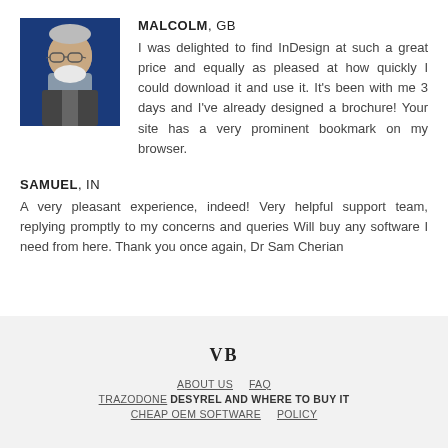[Figure (photo): Headshot of an older man with glasses and a white beard against a blue background]
MALCOLM, GB
I was delighted to find InDesign at such a great price and equally as pleased at how quickly I could download it and use it. It's been with me 3 days and I've already designed a brochure! Your site has a very prominent bookmark on my browser.
SAMUEL, IN
A very pleasant experience, indeed! Very helpful support team, replying promptly to my concerns and queries Will buy any software I need from here. Thank you once again, Dr Sam Cherian
VB
ABOUT US   FAQ
TRAZODONE DESYREL AND WHERE TO BUY IT
CHEAP OEM SOFTWARE   POLICY